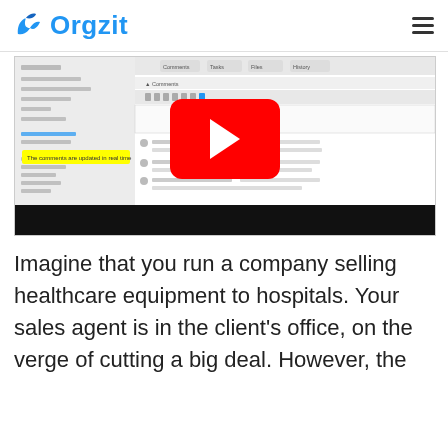Orgzit
[Figure (screenshot): Screenshot of Orgzit application interface showing a CRM-like record with comments panel open. A yellow tooltip reads 'The comments are updated in real time'. A YouTube play button overlay is centered on the screenshot. The bottom portion of the screenshot shows a black bar.]
Imagine that you run a company selling healthcare equipment to hospitals. Your sales agent is in the client's office, on the verge of cutting a big deal. However, the